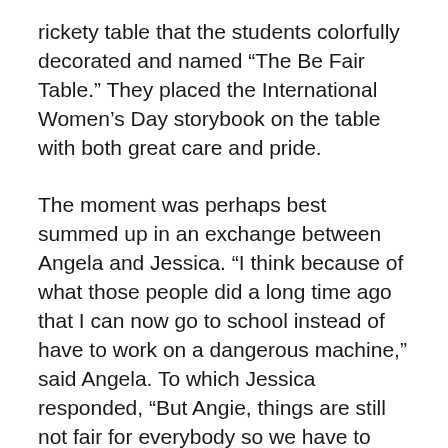rickety table that the students colorfully decorated and named “The Be Fair Table.” They placed the International Women’s Day storybook on the table with both great care and pride.
The moment was perhaps best summed up in an exchange between Angela and Jessica. “I think because of what those people did a long time ago that I can now go to school instead of have to work on a dangerous machine,” said Angela. To which Jessica responded, “But Angie, things are still not fair for everybody so we have to keep trying harder.”